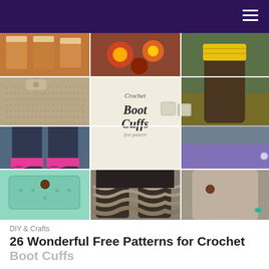[Figure (photo): Collage of crochet boot cuffs showing various styles: lace cuffs, ruffle cuffs, mint green cuff with button, purple cuff with rhinestone, leg warmers with pink stripe, and boots with yellow crochet cuffs. Center image shows text 'Crochet Boot Cuffs free pattern'.]
DIY & Crafts
26 Wonderful Free Patterns for Crochet Boot Cuffs